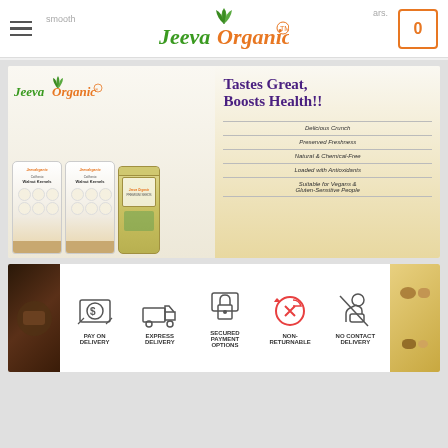JeevaOrganic™ — website header with hamburger menu and cart icon showing 0
[Figure (illustration): JeevaOrganic promotional banner showing walnut kernels bags and a seed jar with tagline 'Tastes Great, Boosts Health!!' and feature bullets: Delicious Crunch, Preserved Freshness, Natural & Chemical-Free, Loaded with Antioxidants, Suitable for Vegans & Gluten-Sensitive People]
[Figure (infographic): Delivery features bar: PAY ON DELIVERY, EXPRESS DELIVERY, SECURED PAYMENT OPTIONS, NON-RETURNABLE, NO CONTACT DELIVERY]